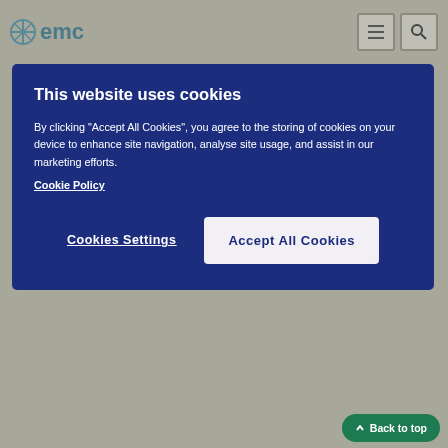emc
This website uses cookies
By clicking "Accept All Cookies", you agree to the storing of cookies on your device to enhance site navigation, analyse site usage, and assist in our marketing efforts. Cookie Policy
Cookies Settings    Accept All Cookies
but also gamma glutamyltransferase (GGT) and aspartate transaminase (AST) have been reported in multiple sclerosis patients treated with fingolimod. Some cases of acute liver failure requiring liver transplant and clinically significant liver injury have also been reported. Signs of liver injury, including markedly elevated serum hepatic enzymes and elevated total bilirubin, have occurred as early as ten days after the first dose and have also been reported after prolonged use. In clinical trials, elevations 3-fold the upper limit of normal (ULN) or greater in ALT occurred in 8.0% of adult patients treated with fingolimod 0.5 mg compared to 1.9% of placebo patients. Elevations 5-fold the ULN occurred in 1.8% of patients on fingolimod and 0.9% of patients on placebo. In clinical trials was discontinued if the elevation exceeded 5 times the ULN. Recurrence